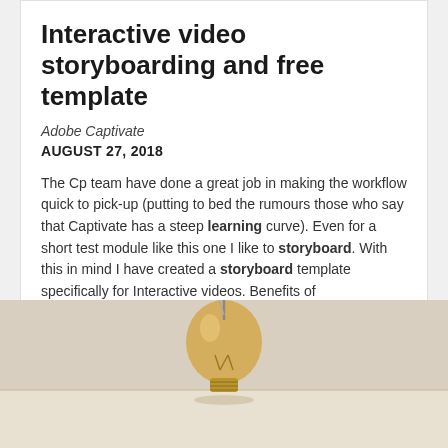Interactive video storyboarding and free template
Adobe Captivate
AUGUST 27, 2018
The Cp team have done a great job in making the workflow quick to pick-up (putting to bed the rumours those who say that Captivate has a steep learning curve). Even for a short test module like this one I like to storyboard. With this in mind I have created a storyboard template specifically for Interactive videos. Benefits of Storyboarding. I prefer to storyboard for several reasons. Interactive video storyboard template.
[Figure (photo): Close-up photo of a vintage Edison-style light bulb on a light surface]